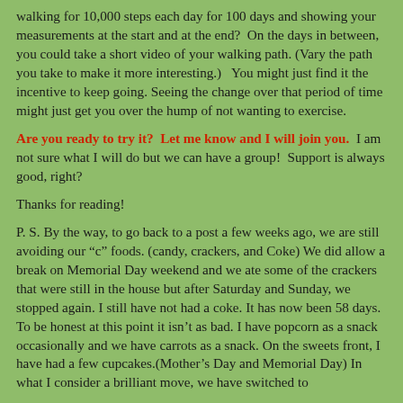walking for 10,000 steps each day for 100 days and showing your measurements at the start and at the end?  On the days in between, you could take a short video of your walking path. (Vary the path you take to make it more interesting.)   You might just find it the incentive to keep going. Seeing the change over that period of time might just get you over the hump of not wanting to exercise.
Are you ready to try it?  Let me know and I will join you.  I am not sure what I will do but we can have a group!  Support is always good, right?
Thanks for reading!
P. S. By the way, to go back to a post a few weeks ago, we are still avoiding our “c” foods. (candy, crackers, and Coke) We did allow a break on Memorial Day weekend and we ate some of the crackers that were still in the house but after Saturday and Sunday, we stopped again. I still have not had a coke. It has now been 58 days. To be honest at this point it isn’t as bad. I have popcorn as a snack occasionally and we have carrots as a snack. On the sweets front, I have had a few cupcakes.(Mother’s Day and Memorial Day) In what I consider a brilliant move, we have switched to